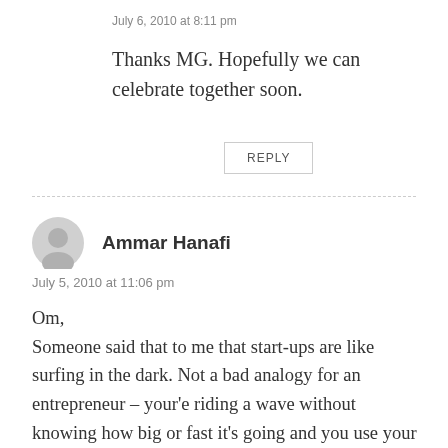July 6, 2010 at 8:11 pm
Thanks MG. Hopefully we can celebrate together soon.
REPLY
Ammar Hanafi
July 5, 2010 at 11:06 pm
Om,
Someone said that to me that start-ups are like surfing in the dark. Not a bad analogy for an entrepreneur – your'e riding a wave without knowing how big or fast it's going and you use your skill to stay on without being sure of what's coming. Here's riding with you my friend — its been fun so far and I know it's going to get